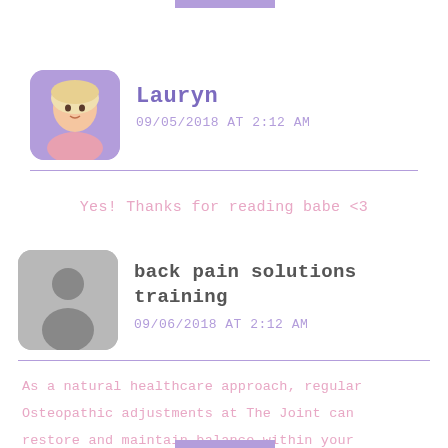[Figure (photo): Profile photo of Lauryn with purple rounded rectangle avatar border]
Lauryn
09/05/2018 AT 2:12 AM
Yes! Thanks for reading babe <3
[Figure (illustration): Generic grey silhouette avatar placeholder]
back pain solutions training
09/06/2018 AT 2:12 AM
As a natural healthcare approach, regular Osteopathic adjustments at The Joint can restore and maintain balance within your body, leaving you better prepared to live life to its fullest.